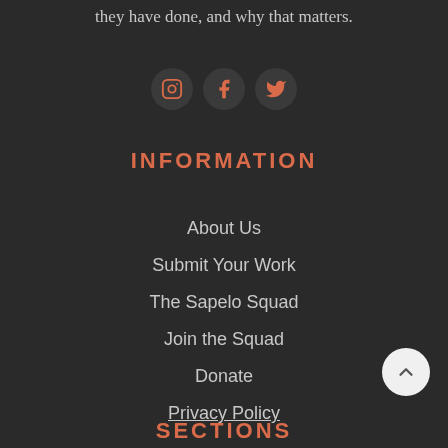they have done, and why that matters.
[Figure (illustration): Three social media icon circles: Instagram, Facebook, Twitter in coral/salmon color on dark circular backgrounds]
INFORMATION
About Us
Submit Your Work
The Sapelo Squad
Join the Squad
Donate
Privacy Policy
[Figure (illustration): Circular white back-to-top button with upward chevron arrow]
SECTIONS